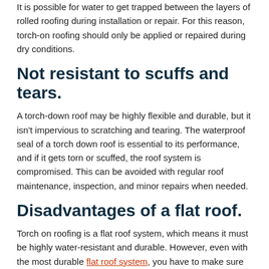It is possible for water to get trapped between the layers of rolled roofing during installation or repair. For this reason, torch-on roofing should only be applied or repaired during dry conditions.
Not resistant to scuffs and tears.
A torch-down roof may be highly flexible and durable, but it isn't impervious to scratching and tearing. The waterproof seal of a torch down roof is essential to its performance, and if it gets torn or scuffed, the roof system is compromised. This can be avoided with regular roof maintenance, inspection, and minor repairs when needed.
Disadvantages of a flat roof.
Torch on roofing is a flat roof system, which means it must be highly water-resistant and durable. However, even with the most durable flat roof system, you have to make sure to